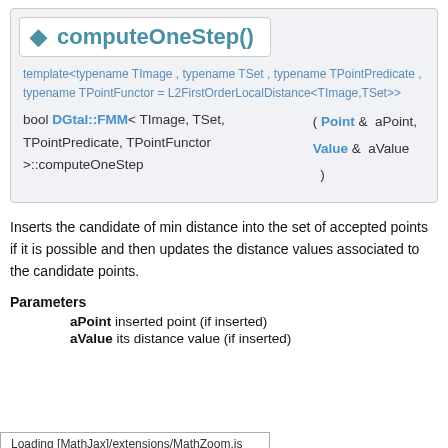◆ computeOneStep()
template<typename TImage , typename TSet , typename TPointPredicate ,
typename TPointFunctor = L2FirstOrderLocalDistance<TImage,TSet>>
bool DGtal::FMM< TImage, TSet, TPointPredicate, TPointFunctor
>::computeOneStep
( Point &  aPoint,
  Value &  aValue
)
Inserts the candidate of min distance into the set of accepted points if it is possible and then updates the distance values associated to the candidate points.
Parameters
aPoint  inserted point (if inserted)
aValue  its distance value (if inserted)
Loading [MathJax]/extensions/MathZoom.js